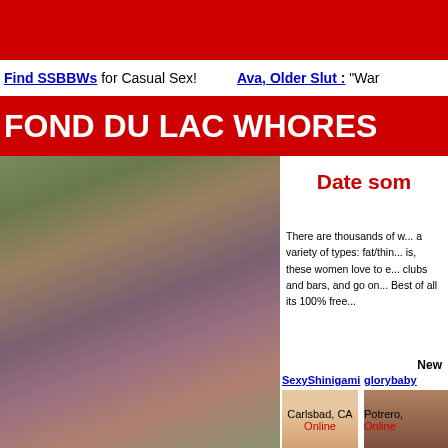[Figure (photo): Red banner bar at top of webpage]
Find SSBBWs for Casual Sex!    Ava, Older Slut : "War
FOND DU LAC WHORES
[Figure (photo): Woman in purple fishnet bodysuit posing outdoors near stairs]
Date som
There are thousands of w... a variety of types: fat/thin... is, these women love to e... clubs and bars, and go on... Best of all its 100% free...
New
SexyShinigami
glorybaby
[Figure (photo): Profile photo of woman, Carlsbad CA]
[Figure (photo): Profile photo of woman, Potrero]
Carlsbad, CA
Online
Potrero,
Online